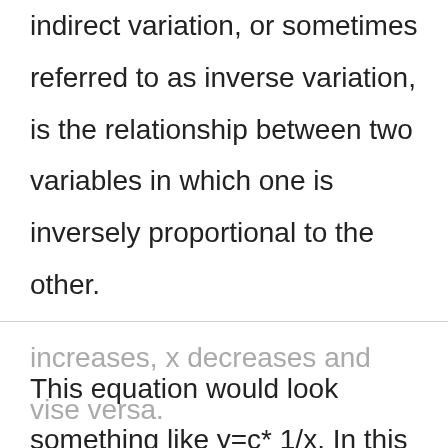indirect variation, or sometimes referred to as inverse variation, is the relationship between two variables in which one is inversely proportional to the other.

This equation would look something like y=c* 1/x. In this situation, as y
increases, x decreases and vise versa.